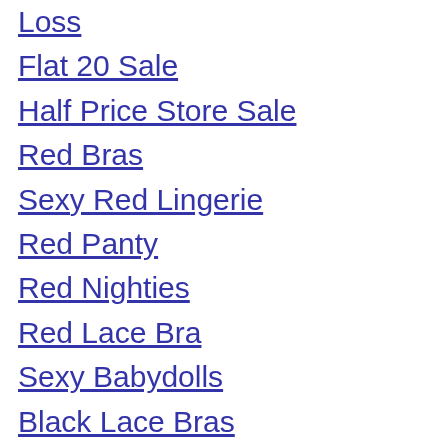Loss
Flat 20 Sale
Half Price Store Sale
Red Bras
Sexy Red Lingerie
Red Panty
Red Nighties
Red Lace Bra
Sexy Babydolls
Black Lace Bras
Sexy Lace Lingerie
Sexy Night Dresses
Red Net Panty
Bra And Panty Set
Cosmetic Gifts
Perfumes
Red Lipstick
Maternity Care
Ring
Bracelets
Earring
Amante
Enamor
Inner Sense
Jockey
Lovra